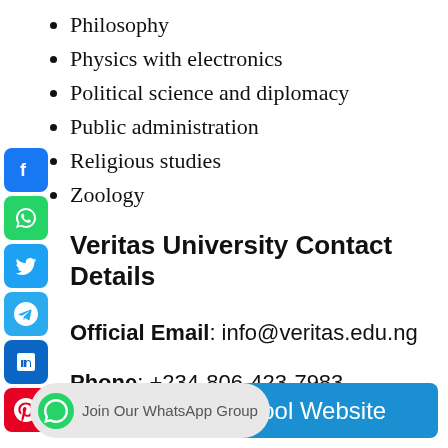Philosophy
Physics with electronics
Political science and diplomacy
Public administration
Religious studies
Zoology
Veritas University Contact Details
Official Email: info@veritas.edu.ng
Phone: +234-806-423-7983
Share
School Website
Join Our WhatsApp Group